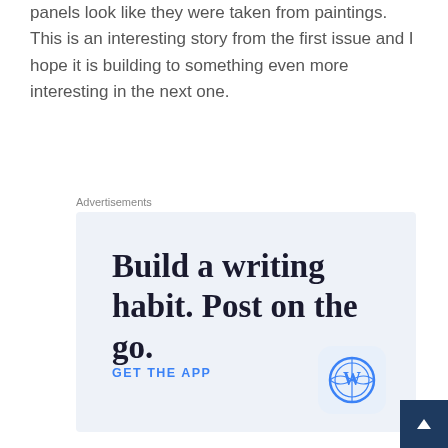panels look like they were taken from paintings. This is an interesting story from the first issue and I hope it is building to something even more interesting in the next one.
Advertisements
[Figure (other): WordPress advertisement: 'Build a writing habit. Post on the go.' with GET THE APP call to action and WordPress logo icon]